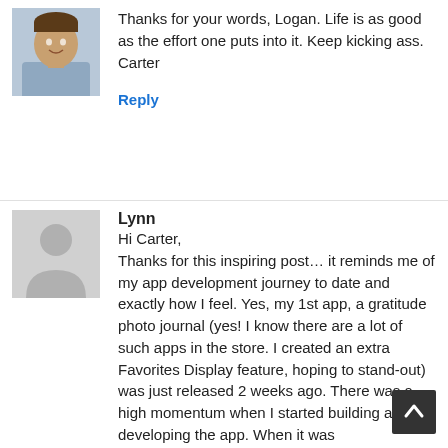[Figure (photo): Small profile photo of Carter, a man in a blue shirt, smiling]
Thanks for your words, Logan. Life is as good as the effort one puts into it. Keep kicking ass.
Carter
Reply
Lynn
[Figure (illustration): Gray silhouette avatar placeholder for Lynn]
Hi Carter,
Thanks for this inspiring post… it reminds me of my app development journey to date and exactly how I feel. Yes, my 1st app, a gratitude photo journal (yes! I know there are a lot of such apps in the store. I created an extra Favorites Display feature, hoping to stand-out) was just released 2 weeks ago. There was a high momentum when I started building and developing the app. When it was